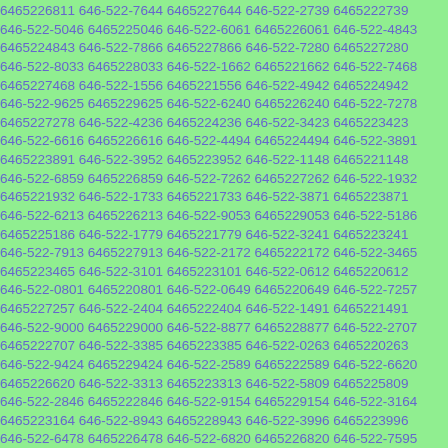6465226811 646-522-7644 6465227644 646-522-2739 6465222739 646-522-5046 6465225046 646-522-6061 6465226061 646-522-4843 6465224843 646-522-7866 6465227866 646-522-7280 6465227280 646-522-8033 6465228033 646-522-1662 6465221662 646-522-7468 6465227468 646-522-1556 6465221556 646-522-4942 6465224942 646-522-9625 6465229625 646-522-6240 6465226240 646-522-7278 6465227278 646-522-4236 6465224236 646-522-3423 6465223423 646-522-6616 6465226616 646-522-4494 6465224494 646-522-3891 6465223891 646-522-3952 6465223952 646-522-1148 6465221148 646-522-6859 6465226859 646-522-7262 6465227262 646-522-1932 6465221932 646-522-1733 6465221733 646-522-3871 6465223871 646-522-6213 6465226213 646-522-9053 6465229053 646-522-5186 6465225186 646-522-1779 6465221779 646-522-3241 6465223241 646-522-7913 6465227913 646-522-2172 6465222172 646-522-3465 6465223465 646-522-3101 6465223101 646-522-0612 6465220612 646-522-0801 6465220801 646-522-0649 6465220649 646-522-7257 6465227257 646-522-2404 6465222404 646-522-1491 6465221491 646-522-9000 6465229000 646-522-8877 6465228877 646-522-2707 6465222707 646-522-3385 6465223385 646-522-0263 6465220263 646-522-9424 6465229424 646-522-2589 6465222589 646-522-6620 6465226620 646-522-3313 6465223313 646-522-5809 6465225809 646-522-2846 6465222846 646-522-9154 6465229154 646-522-3164 6465223164 646-522-8943 6465228943 646-522-3996 6465223996 646-522-6478 6465226478 646-522-6820 6465226820 646-522-7595 6465227595 646-522-5812 6465225812 646-522-1672 6465221672